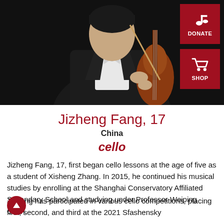[Figure (photo): Young male cellist in black tuxedo with white bow tie, holding a cello, photographed against a dark background]
Jizheng Fang, 17
China
cello
Jizheng Fang, 17, first began cello lessons at the age of five as a student of Xisheng Zhang. In 2015, he continued his musical studies by enrolling at the Shanghai Conservatory Affiliated Secondary School and studying under Professor Weiping Chen.
Jizheng has participated in various cello competitions, placing first, second, and third at the 2021 Sfashensky